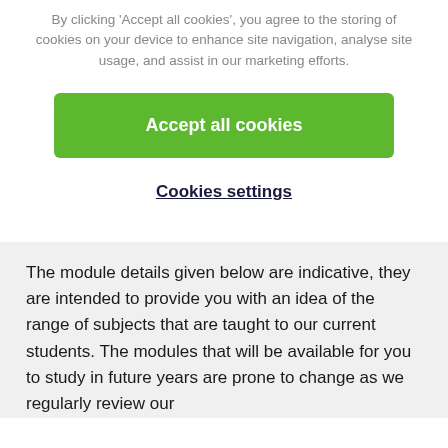By clicking 'Accept all cookies', you agree to the storing of cookies on your device to enhance site navigation, analyse site usage, and assist in our marketing efforts.
[Figure (other): Green 'Accept all cookies' button]
Cookies settings
The module details given below are indicative, they are intended to provide you with an idea of the range of subjects that are taught to our current students. The modules that will be available for you to study in future years are prone to change as we regularly review our